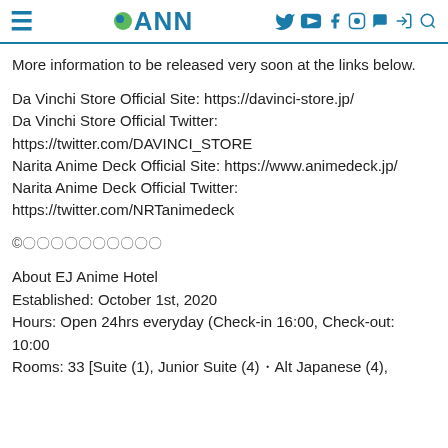≡ ●ANN [social icons]
More information to be released very soon at the links below.
Da Vinchi Store Official Site: https://davinci-store.jp/
Da Vinchi Store Official Twitter: https://twitter.com/DAVINCI_STORE
Narita Anime Deck Official Site: https://www.animedeck.jp/
Narita Anime Deck Official Twitter: https://twitter.com/NRTanimedeck
©︎〇〇〇〇〇〇〇〇〇〇
About EJ Anime Hotel
Established: October 1st, 2020
Hours: Open 24hrs everyday (Check-in 16:00, Check-out: 10:00
Rooms: 33 [Suite (1), Junior Suite (4)・Alt Japanese (4),